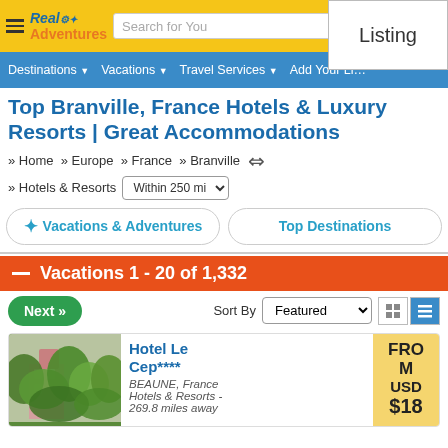Real Adventures - Search for You - Listing
Destinations | Vacations | Travel Services | Add Your Listing
Top Branville, France Hotels & Luxury Resorts | Great Accommodations
» Home » Europe » France » Branville » Hotels & Resorts Within 250 mi
Vacations & Adventures | Top Destinations
— Vacations 1 - 20 of 1,332
Next » Sort By Featured
Hotel Le Cep**** BEAUNE, France Hotels & Resorts - 269.8 miles away FROM USD $18